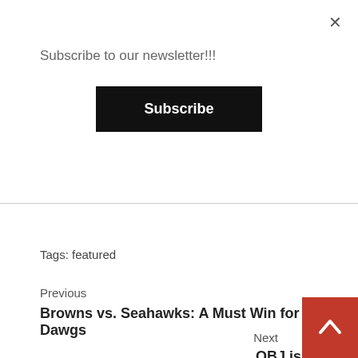×
Subscribe to our newsletter!!!
Subscribe
Tags: featured
Previous
Browns vs. Seahawks: A Must Win for the Dawgs
Next
OBJ is Becoming 'That Hot Girlf